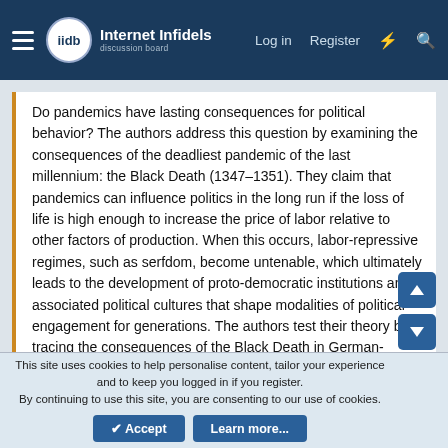Internet Infidels — Log in   Register
Do pandemics have lasting consequences for political behavior? The authors address this question by examining the consequences of the deadliest pandemic of the last millennium: the Black Death (1347–1351). They claim that pandemics can influence politics in the long run if the loss of life is high enough to increase the price of labor relative to other factors of production. When this occurs, labor-repressive regimes, such as serfdom, become untenable, which ultimately leads to the development of proto-democratic institutions and associated political cultures that shape modalities of political engagement for generations. The authors test their theory by tracing the consequences of the Black Death in German-speaking Central Europe. They find that areas hit hardest by that pandemic were more likely to adopt inclusive political institutions and equitable land ownership patterns, to exhibit electoral behavior indicating independence from landed elite influence during the transition to mass politics, and to have significantly lower vote shares for Hitler's
This site uses cookies to help personalise content, tailor your experience and to keep you logged in if you register.
By continuing to use this site, you are consenting to our use of cookies.